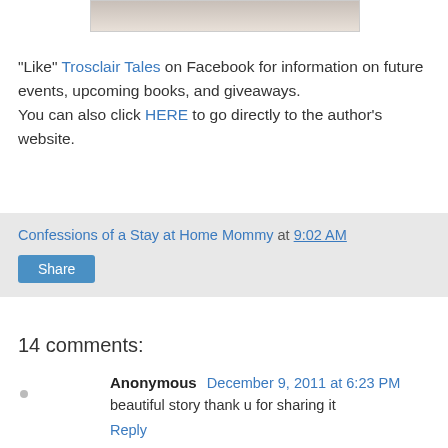[Figure (photo): Partial image strip at top of page, showing bottom edge of a photograph]
"Like" Trosclair Tales on Facebook for information on future events, upcoming books, and giveaways.
You can also click HERE to go directly to the author's website.
Confessions of a Stay at Home Mommy at 9:02 AM
Share
14 comments:
Anonymous December 9, 2011 at 6:23 PM
beautiful story thank u for sharing it
Reply